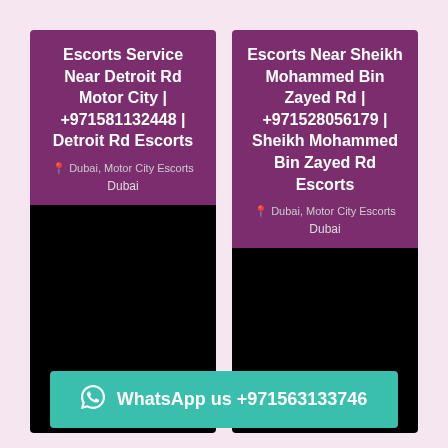[Figure (infographic): Left card with purple header reading 'Escorts Service Near Detroit Rd Motor City | +971581132448 | Detroit Rd Escorts' with location 'Dubai, Motor City Escorts' and city 'Dubai', followed by black image area below.]
[Figure (infographic): Right card with purple header reading 'Escorts Near Sheikh Mohammed Bin Zayed Rd | +971528056179 | Sheikh Mohammed Bin Zayed Rd Escorts' with location 'Dubai, Motor City Escorts' and city 'Dubai', followed by black image area below.]
WhatsApp us +971563133746